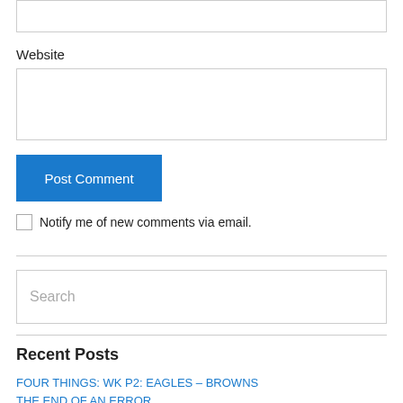Website
Post Comment
Notify me of new comments via email.
Search
Recent Posts
FOUR THINGS: WK P2: EAGLES – BROWNS
THE END OF AN ERROR